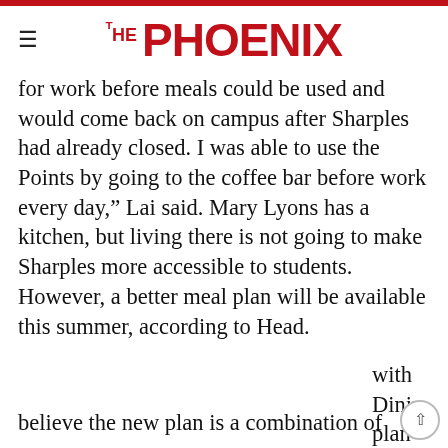THE PHOENIX
for work before meals could be used and would come back on campus after Sharples had already closed. I was able to use the Points by going to the coffee bar before work every day,” Lai said. Mary Lyons has a kitchen, but living there is not going to make Sharples more accessible to students. However, a better meal plan will be available this summer, according to Head.
[Figure (screenshot): YOU MIGHT BE INTERESTED IN promotional banner with a card showing The Phoenix logo and article title: STUDENT INTEREST IN BUSINESS CLUBS INCREASES]
believe the new plan is a combination of